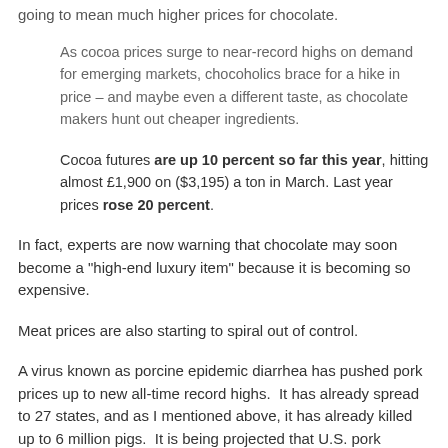going to mean much higher prices for chocolate.
As cocoa prices surge to near-record highs on demand for emerging markets, chocoholics brace for a hike in price – and maybe even a different taste, as chocolate makers hunt out cheaper ingredients.
Cocoa futures are up 10 percent so far this year, hitting almost £1,900 on ($3,195) a ton in March. Last year prices rose 20 percent.
In fact, experts are now warning that chocolate may soon become a "high-end luxury item" because it is becoming so expensive.
Meat prices are also starting to spiral out of control.
A virus known as porcine epidemic diarrhea has pushed pork prices up to new all-time record highs.  It has already spread to 27 states, and as I mentioned above, it has already killed up to 6 million pigs.  It is being projected that U.S. pork production will decline by about 7 percent this year as a